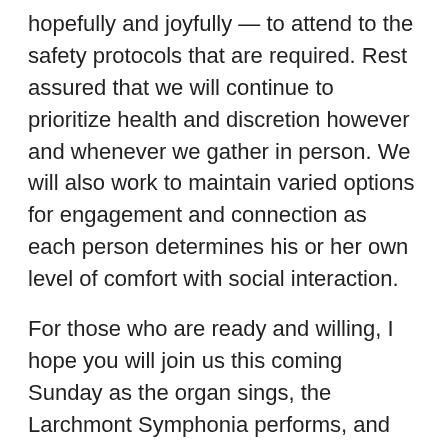hopefully and joyfully — to attend to the safety protocols that are required. Rest assured that we will continue to prioritize health and discretion however and whenever we gather in person. We will also work to maintain varied options for engagement and connection as each person determines his or her own level of comfort with social interaction.
For those who are ready and willing, I hope you will join us this coming Sunday as the organ sings, the Larchmont Symphonia performs, and the Word of God is read and proclaimed. In person, online, or in spirit, all of God's children are welcome to connect with us in worship at Larchmont Avenue Church!
Blessings,
Peter